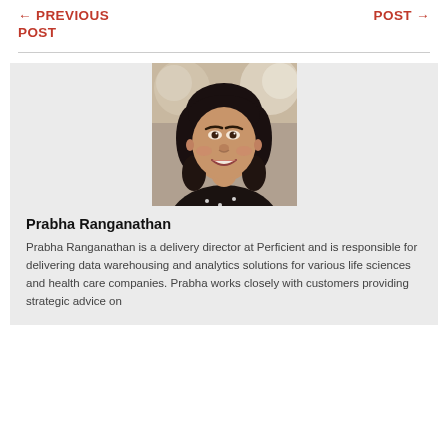← PREVIOUS POST
POST →
[Figure (photo): Headshot photo of Prabha Ranganathan, a woman with dark hair, smiling, wearing a dark top with small white dots, against a blurred background.]
Prabha Ranganathan
Prabha Ranganathan is a delivery director at Perficient and is responsible for delivering data warehousing and analytics solutions for various life sciences and health care companies. Prabha works closely with customers providing strategic advice on